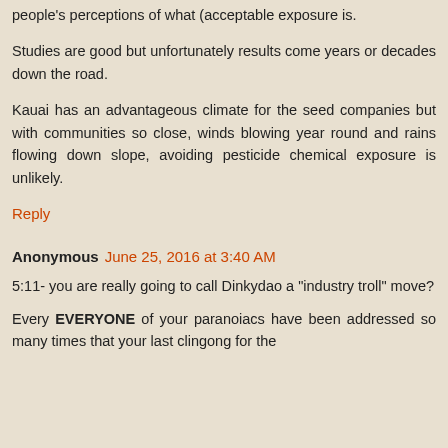people's perceptions of what (acceptable exposure is.
Studies are good but unfortunately results come years or decades down the road.
Kauai has an advantageous climate for the seed companies but with communities so close, winds blowing year round and rains flowing down slope, avoiding pesticide chemical exposure is unlikely.
Reply
Anonymous June 25, 2016 at 3:40 AM
5:11- you are really going to call Dinkydao a "industry troll" move?
Every EVERYONE of your paranoiacs have been addressed so many times that your last clingong for the